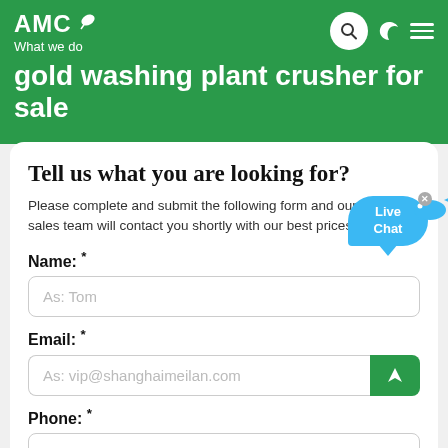AMC — What we do
gold washing plant crusher for sale
Tell us what you are looking for?
Please complete and submit the following form and our sales team will contact you shortly with our best prices.
Name: *
As: Tom
Email: *
As: vip@shanghaimeilan.com
Phone: *
With Country Code